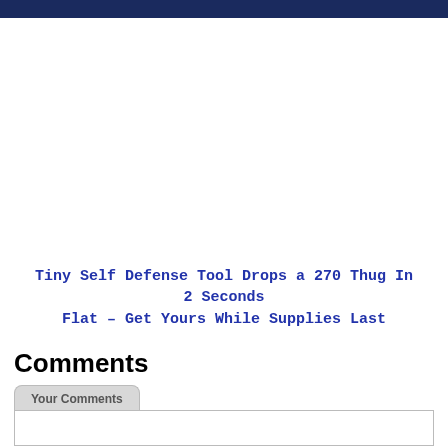[Figure (other): Advertisement banner area, white/blank space below dark navy header bar]
Tiny Self Defense Tool Drops a 270 Thug In 2 Seconds Flat – Get Yours While Supplies Last
Comments
Your Comments